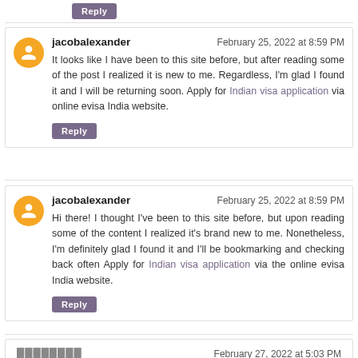Reply (button at top)
jacobalexander — February 25, 2022 at 8:59 PM
It looks like I have been to this site before, but after reading some of the post I realized it is new to me. Regardless, I'm glad I found it and I will be returning soon. Apply for Indian visa application via online evisa India website.
Reply
jacobalexander — February 25, 2022 at 8:59 PM
Hi there! I thought I've been to this site before, but upon reading some of the content I realized it's brand new to me. Nonetheless, I'm definitely glad I found it and I'll be bookmarking and checking back often Apply for Indian visa application via the online evisa India website.
Reply
???????? — February 27, 2022 at 5:03 PM